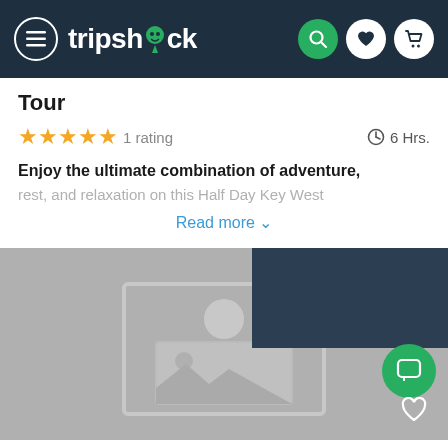tripshock
Tour
★★★★★ 1 rating   ⏱ 6 Hrs.
Enjoy the ultimate combination of adventure, rest, and relaxation on this Half Day Key West
Read more
[Figure (photo): Placeholder image area with a dark overlay panel in the top right, a green chat button, and a heart/favorite button at the bottom right]